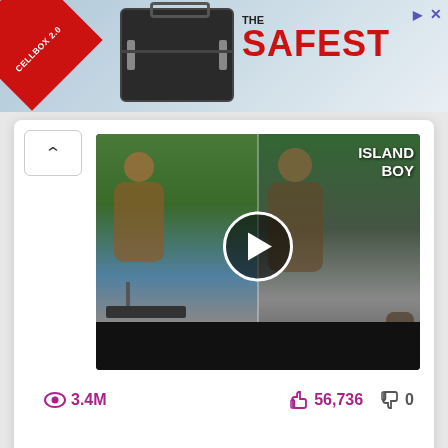[Figure (screenshot): Advertisement banner for CELLBOX 2.0 with red badge and text THE SAFEST, showing a dark suitcase/case product, with close and info buttons top right.]
[Figure (screenshot): Video thumbnail for Island Boy music video showing two people by a pool, with a play button overlay and black bar at bottom. Stats show 3.4M views, 56,736 likes, 0 dislikes.]
3.4M
56,736
0